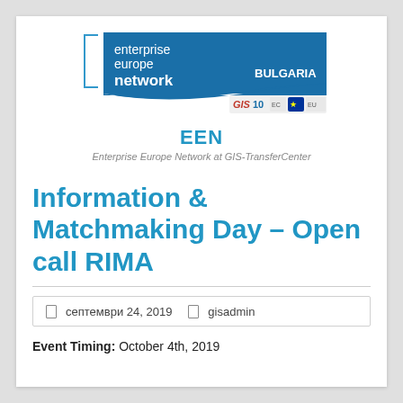[Figure (logo): Enterprise Europe Network Bulgaria banner logo with blue background, 'enterprise europe network' text in white, 'BULGARIA' in bold white, curved wave bottom, plus GIS 10 anniversary and EU flag logos]
EEN
Enterprise Europe Network at GIS-TransferCenter
Information & Matchmaking Day – Open call RIMA
септември 24, 2019   gisadmin
Event Timing: October 4th, 2019